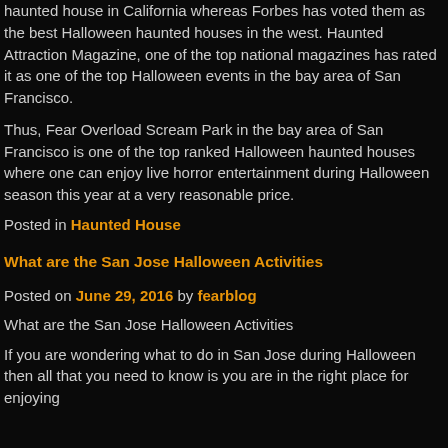haunted house in California whereas Forbes has voted them as the best Halloween haunted houses in the west. Haunted Attraction Magazine, one of the top national magazines has rated it as one of the top Halloween events in the bay area of San Francisco.
Thus, Fear Overload Scream Park in the bay area of San Francisco is one of the top ranked Halloween haunted houses where one can enjoy live horror entertainment during Halloween season this year at a very reasonable price.
Posted in Haunted House
What are the San Jose Halloween Activities
Posted on June 29, 2016 by fearblog
What are the San Jose Halloween Activities
If you are wondering what to do in San Jose during Halloween then all that you need to know is you are in the right place for enjoying